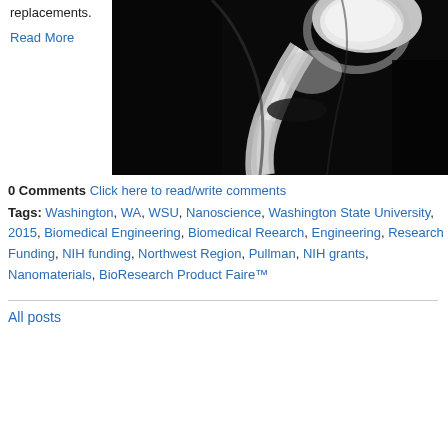replacements.
Read More
[Figure (photo): X-ray image of a knee joint showing bone structure in black and white]
0 Comments Click here to read/write comments
Tags: Washington, WA, WSU, Nanoscience, Washington State University, 2015, Biomedical Engineering, Biomedical Reearch, Engineering, Research Funding, NIH funding, Northwest Region, Pullman, NIH grants, Nanomaterials, BioResearch Product Faire™
All posts